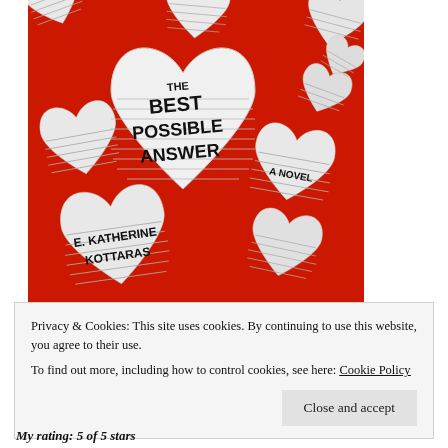[Figure (illustration): Book cover of 'The Best Possible Answer: A Novel' by E. Katherine Kottaras. Red background with multiple white paper heart shapes cut from lined notebook paper scattered across the cover. The largest central heart has the title 'THE BEST POSSIBLE ANSWER' written in handwritten black text. A smaller heart reads 'A NOVEL'. A heart in the lower left reads 'E. KATHERINE KOTTARAS'.]
Privacy & Cookies: This site uses cookies. By continuing to use this website, you agree to their use.
To find out more, including how to control cookies, see here: Cookie Policy
Close and accept
My rating: 5 of 5 stars